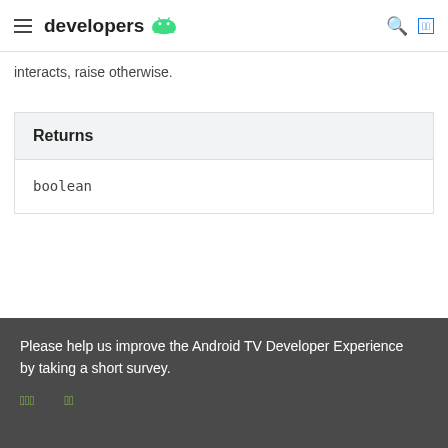developers [Android logo]
interacts, raise otherwise.
| Returns |
| --- |
| boolean |
notifyPlaybackRowChanged
Please help us improve the Android TV Developer Experience by taking a short survey.